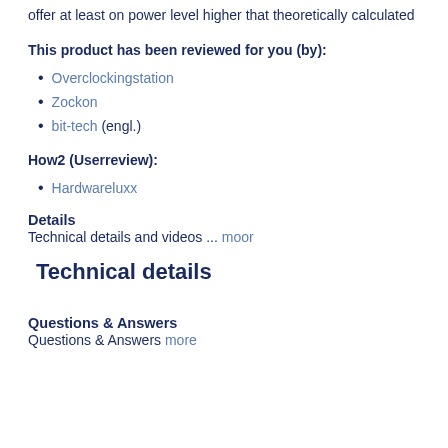offer at least on power level higher that theoretically calculated
This product has been reviewed for you (by):
Overclockingstation
Zockon
bit-tech (engl.)
How2 (Userreview):
Hardwareluxx
Details
Technical details and videos ... moor
Technical details
Questions & Answers
Questions & Answers more